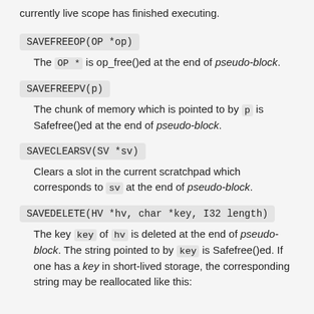currently live scope has finished executing.
SAVEFREEOP(OP *op)
The OP * is op_free()ed at the end of pseudo-block.
SAVEFREEPV(p)
The chunk of memory which is pointed to by p is Safefree()ed at the end of pseudo-block.
SAVECLEARSV(SV *sv)
Clears a slot in the current scratchpad which corresponds to sv at the end of pseudo-block.
SAVEDELETE(HV *hv, char *key, I32 length)
The key key of hv is deleted at the end of pseudo-block. The string pointed to by key is Safefree()ed. If one has a key in short-lived storage, the corresponding string may be reallocated like this: